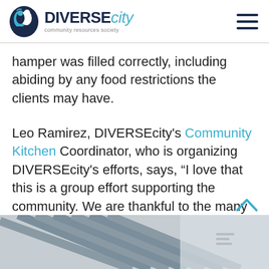DIVERSEcity community resources society
hamper was filled correctly, including abiding by any food restrictions the clients may have.
Leo Ramirez, DIVERSEcity's Community Kitchen Coordinator, who is organizing DIVERSEcity's efforts, says, “I love that this is a group effort supporting the community. We are thankful to the many organizations, volunteers and staff that come together to make this work.”
[Figure (photo): Photo of a building exterior with diagonal architectural elements, partially visible at the bottom of the page.]